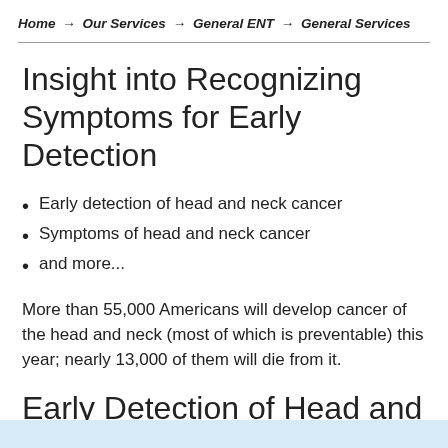Home → Our Services → General ENT → General Services
Insight into Recognizing Symptoms for Early Detection
Early detection of head and neck cancer
Symptoms of head and neck cancer
and more...
More than 55,000 Americans will develop cancer of the head and neck (most of which is preventable) this year; nearly 13,000 of them will die from it.
Early Detection of Head and Neck Cancer